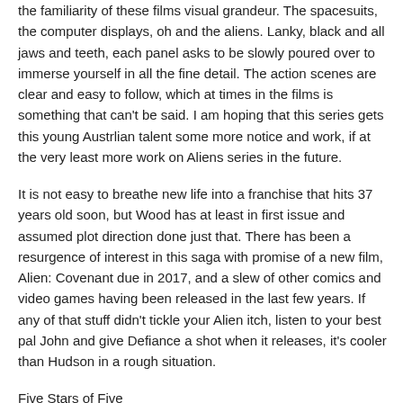the familiarity of these films visual grandeur. The spacesuits, the computer displays, oh and the aliens. Lanky, black and all jaws and teeth, each panel asks to be slowly poured over to immerse yourself in all the fine detail. The action scenes are clear and easy to follow, which at times in the films is something that can't be said. I am hoping that this series gets this young Austrlian talent some more notice and work, if at the very least more work on Aliens series in the future.
It is not easy to breathe new life into a franchise that hits 37 years old soon, but Wood has at least in first issue and assumed plot direction done just that. There has been a resurgence of interest in this saga with promise of a new film, Alien: Covenant due in 2017, and a slew of other comics and video games having been released in the last few years. If any of that stuff didn't tickle your Alien itch, listen to your best pal John and give Defiance a shot when it releases, it's cooler than Hudson in a rough situation.
Five Stars of Five
Aliens: Defiance scheduled to release April 27th, 2016
Advance supplied by Dark Horse Comics
Tags: Aliens, Aliens: Defiance, Brian Wood, Dark Horse Comics, Ridley Scott, Tristan Jones
Comments are closed.